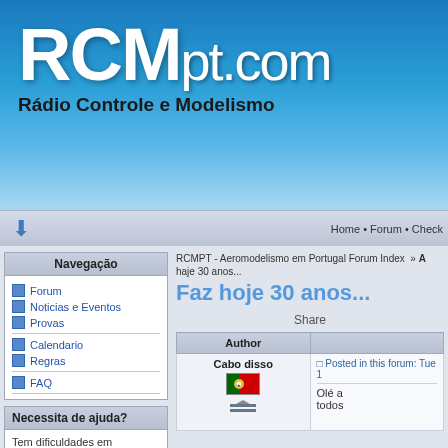[Figure (logo): RCMpt.com - Rádio Controle e Modelismo website logo on blue gradient background]
Home • Forum • Check
Navegação
Forum
Noticias e Eventos
Provas
Calendario
Regras
FAQ
Necessita de ajuda?
Tem dificuldades em aceder, ou necessita...
RCMPT - Aeromodelismo em Portugal Forum Index » A... haje 30 anos...
Faz hoje 30 anos...
Share
| Author |  |
| --- | --- |
| Cabo disso | Posted in this forum: Tue 1...
Olé a
todos |